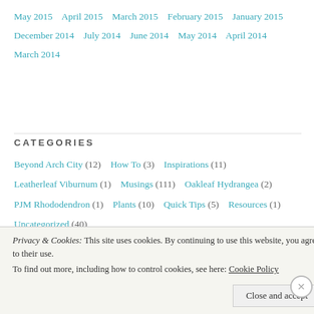May 2015   April 2015   March 2015   February 2015   January 2015   December 2014   July 2014   June 2014   May 2014   April 2014   March 2014
CATEGORIES
Beyond Arch City (12)   How To (3)   Inspirations (11)   Leatherleaf Viburnum (1)   Musings (111)   Oakleaf Hydrangea (2)   PJM Rhododendron (1)   Plants (10)   Quick Tips (5)   Resources (1)   Uncategorized (40)
Privacy & Cookies: This site uses cookies. By continuing to use this website, you agree to their use. To find out more, including how to control cookies, see here: Cookie Policy